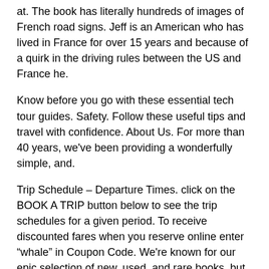at. The book has literally hundreds of images of French road signs. Jeff is an American who has lived in France for over 15 years and because of a quirk in the driving rules between the US and France he.
Know before you go with these essential tech tour guides. Safety. Follow these useful tips and travel with confidence. About Us. For more than 40 years, we've been providing a wonderfully simple, and.
Trip Schedule – Departure Times. click on the BOOK A TRIP button below to see the trip schedules for a given period. To receive discounted fares when you reserve online enter “whale” in Coupon Code. We're known for our epic selection of new, used, and rare books, but we also sell fine art & collectables.
Browse art & collectables. Trusted since Our mission is to make it easy for customers to .In response to a big rise in the number of road deaths in France, speed limits on two-lane (single carriageway) highways were cut from 90km/h (56mph) to 80km/h (50mph) in July This national .Gourmet Food Sale.
Channel your inner chef and stock your kitchen with scrumptious